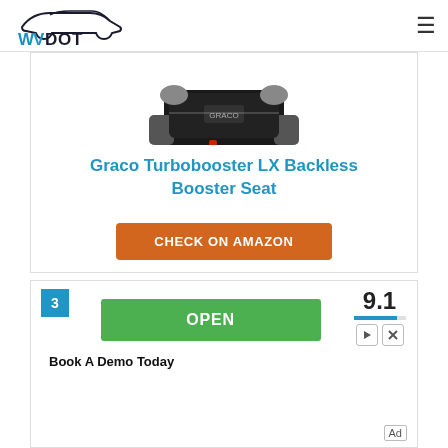WVDOT
[Figure (photo): Graco Turbobooster LX Backless Booster Seat product photo on white background — black and gray booster seat with armrests]
Graco Turbobooster LX Backless Booster Seat
CHECK ON AMAZON
3
9.1
OPEN
Book A Demo Today
Ad